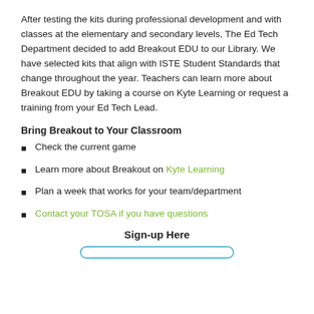After testing the kits during professional development and with classes at the elementary and secondary levels, The Ed Tech Department decided to add Breakout EDU to our Library. We have selected kits that align with ISTE Student Standards that change throughout the year. Teachers can learn more about Breakout EDU by taking a course on Kyte Learning or request a training from your Ed Tech Lead.
Bring Breakout to Your Classroom
Check the current game
Learn more about Breakout on Kyte Learning
Plan a week that works for your team/department
Contact your TOSA if you have questions
Sign-up Here